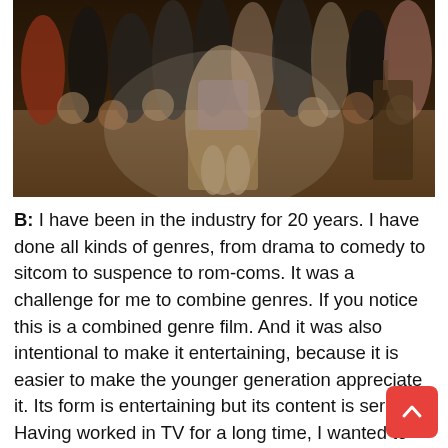[Figure (photo): Group photo of many people gathered in what appears to be an indoor film/TV production set. A woman in a plaid shirt sits in a chair in the foreground surrounded by a large group of people standing and sitting behind her.]
B: I have been in the industry for 20 years. I have done all kinds of genres, from drama to comedy to sitcom to suspence to rom-coms. It was a challenge for me to combine genres. If you notice this is a combined genre film. And it was also intentional to make it entertaining, because it is easier to make the younger generation appreciate it. Its form is entertaining but its content is serious. Having worked in TV for a long time, I wanted to combine all the influences, art and commerce, which turned out to be a pretty hard thing to do. Maybe the older generation may not appreciate but this is for the younger generation.